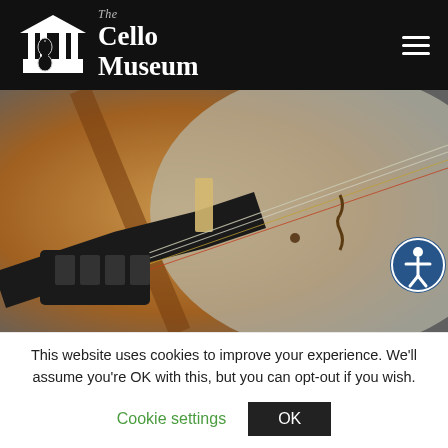The Cello Museum
[Figure (photo): Close-up photograph of a cello body showing the bridge, strings, f-hole, and tailpiece on a textured brown and grey surface]
This website uses cookies to improve your experience. We'll assume you're OK with this, but you can opt-out if you wish.
Cookie settings   OK